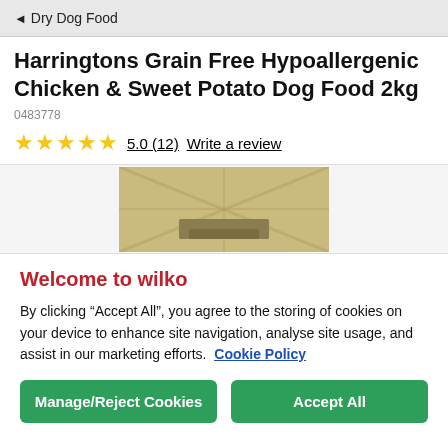◄ Dry Dog Food
Harringtons Grain Free Hypoallergenic Chicken & Sweet Potato Dog Food 2kg
0483778
★★★★★ 5.0 (12) Write a review
[Figure (photo): Product image showing Harringtons dog food bag with Union Jack design]
Welcome to wilko
By clicking "Accept All", you agree to the storing of cookies on your device to enhance site navigation, analyse site usage, and assist in our marketing efforts. Cookie Policy
Manage/Reject Cookies   Accept All